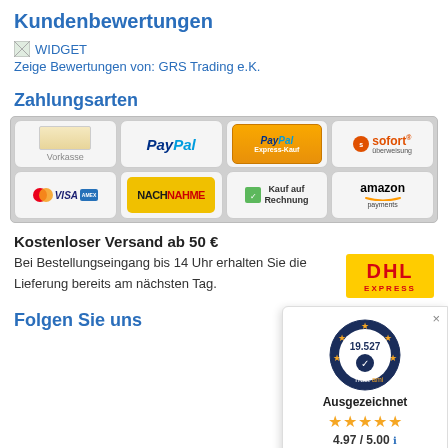Kundenbewertungen
[Figure (other): Widget image placeholder with broken image icon]
Zeige Bewertungen von: GRS Trading e.K.
Zahlungsarten
[Figure (infographic): Payment methods grid: Vorkasse, PayPal, PayPal Express-Kauf, sofort überweisung, Visa/Mastercard/Amex, Nachnahme, Kauf auf Rechnung, amazon payments]
Kostenloser Versand ab 50 €
Bei Bestellungseingang bis 14 Uhr erhalten Sie die Lieferung bereits am nächsten Tag.
[Figure (logo): DHL Express logo]
[Figure (infographic): Trustami overlay: 19.527 reviews, Ausgezeichnet, 4.97/5.00, star rating, Bewertungsgrundlage dieses Anbieters sind 6 Verkaufs- und 1 Bewertungsplattformen]
Folgen Sie uns